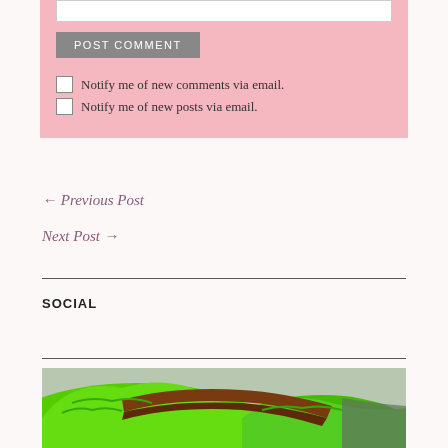[text input field]
POST COMMENT
Notify me of new comments via email.
Notify me of new posts via email.
← Previous Post
Next Post →
SOCIAL
[Figure (photo): Aerial or 3D terrain view showing green landscape with a brown/reddish elevated ridge or structure across the center, green rolling hills on either side, and a darker grayish area on the right edge.]